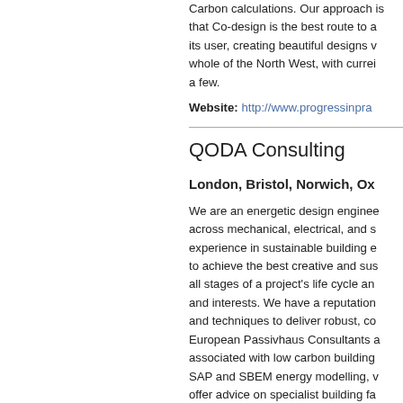Carbon calculations. Our approach is that Co-design is the best route to achieving the best for its user, creating beautiful designs whole of the North West, with current a few.
Website: http://www.progressinpra...
QODA Consulting
London, Bristol, Norwich, Ox...
We are an energetic design engineering company working across mechanical, electrical, and sustainable design with experience in sustainable building engineering. We work to achieve the best creative and sustainable solutions at all stages of a project's life cycle and to protect client needs and interests. We have a reputation for using the latest tools and techniques to deliver robust, cost-effective solutions. European Passivhaus Consultants and associated with low carbon building, SAP and SBEM energy modelling, we offer advice on specialist building fa...
Website: http://www.qodaconsulti...